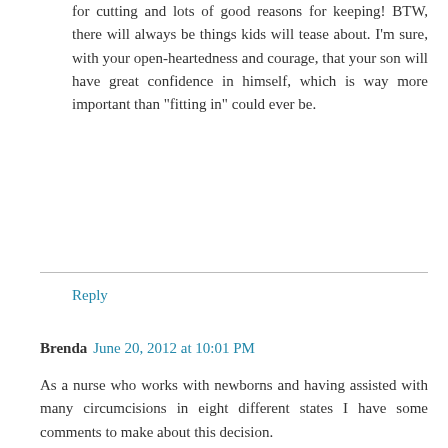for cutting and lots of good reasons for keeping! BTW, there will always be things kids will tease about. I'm sure, with your open-heartedness and courage, that your son will have great confidence in himself, which is way more important than "fitting in" could ever be.
Reply
Brenda  June 20, 2012 at 10:01 PM
As a nurse who works with newborns and having assisted with many circumcisions in eight different states I have some comments to make about this decision.
-Many others have stated this but I will reiterate there are no evidenced based medical reasons for circumcision!
-Even if a circumcision is done there can be scar tissue that forms and becomes a problem